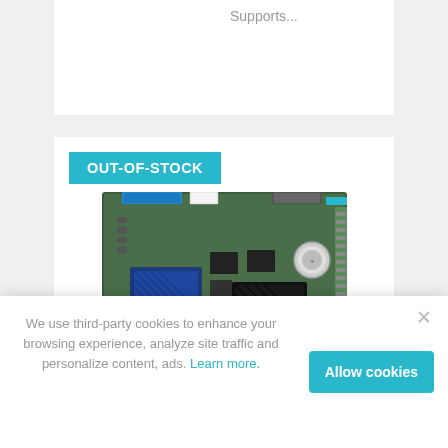Supports...
[Figure (photo): OUT-OF-STOCK badge overlay on a single-board computer (SBC/embedded PC) product image showing a green PCB with blue heatsink, black processor heatsink, battery, and various connectors including VGA, DVI, and edge connectors.]
We use third-party cookies to enhance your browsing experience, analyze site traffic and personalize content, ads. Learn more.